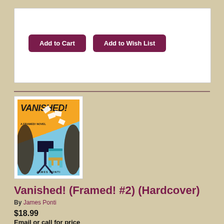[Figure (screenshot): White box with Add to Cart and Add to Wish List buttons in dark maroon/purple color]
[Figure (illustration): Book cover of Vanished! A Framed! Novel by James Ponti, showing an orange and blue illustrated cover with a music stand and scattered papers]
Vanished! (Framed! #2) (Hardcover)
By James Ponti
$18.99
Email or call for price